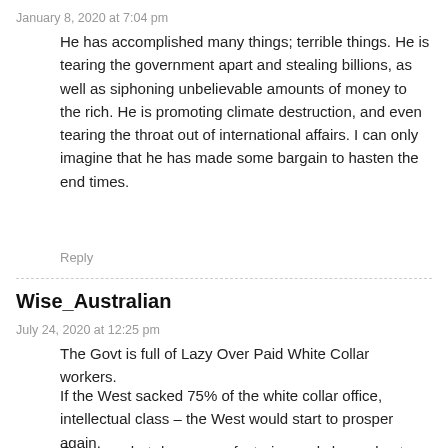January 8, 2020 at 7:04 pm
He has accomplished many things; terrible things. He is tearing the government apart and stealing billions, as well as siphoning unbelievable amounts of money to the rich. He is promoting climate destruction, and even tearing the throat out of international affairs. I can only imagine that he has made some bargain to hasten the end times.
Reply
Wise_Australian
July 24, 2020 at 12:25 pm
The Govt is full of Lazy Over Paid White Collar workers.
If the West sacked 75% of the white collar office, intellectual class – the West would start to prosper again.
Once we shut down manufacturing and churned out millions of University graduates we killed our